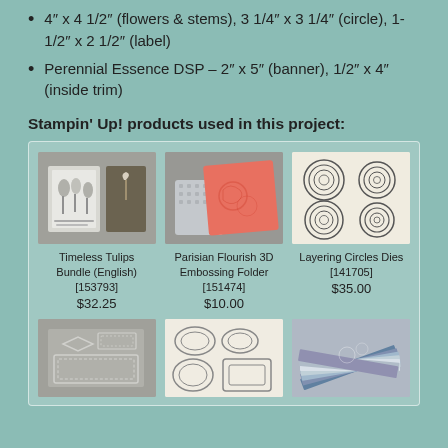4" x 4 1/2" (flowers & stems), 3 1/4" x 3 1/4" (circle), 1-1/2" x 2 1/2" (label)
Perennial Essence DSP – 2" x 5" (banner), 1/2" x 4" (inside trim)
Stampin' Up! products used in this project:
[Figure (photo): Timeless Tulips Bundle (English) product photo]
[Figure (photo): Parisian Flourish 3D Embossing Folder product photo]
[Figure (photo): Layering Circles Dies product photo]
Timeless Tulips Bundle (English) [153793] $32.25
Parisian Flourish 3D Embossing Folder [151474] $10.00
Layering Circles Dies [141705] $35.00
[Figure (photo): Additional product photo bottom left]
[Figure (photo): Additional product photo bottom center]
[Figure (photo): Additional product photo bottom right]